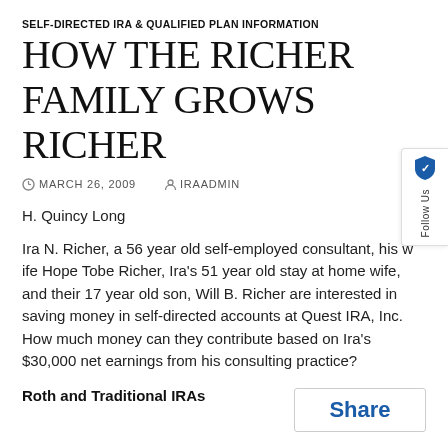SELF-DIRECTED IRA & QUALIFIED PLAN INFORMATION
HOW THE RICHER FAMILY GROWS RICHER
MARCH 26, 2009   IRAADMIN
H. Quincy Long
Ira N. Richer, a 56 year old self-employed consultant, his w... Hope Tobe Richer, Ira's 51 year old stay at home wife, and the... 17 year old son, Will B. Richer are interested in saving money in self-directed accounts at Quest IRA, Inc. How much money can they contribute based on Ira's $30,000 net earnings from his consulting practice?
Roth and Traditional IRAs